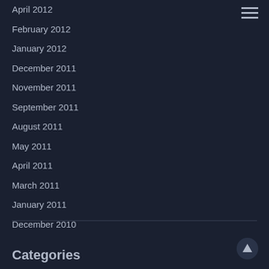April 2012
February 2012
January 2012
December 2011
November 2011
September 2011
August 2011
May 2011
April 2011
March 2011
January 2011
December 2010
Categories